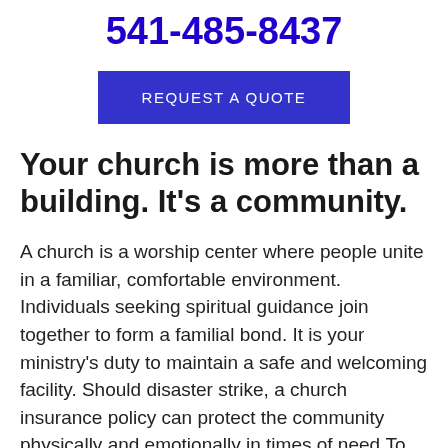541-485-8437
REQUEST A QUOTE
Your church is more than a building. It's a community.
A church is a worship center where people unite in a familiar, comfortable environment. Individuals seeking spiritual guidance join together to form a familial bond. It is your ministry's duty to maintain a safe and welcoming facility. Should disaster strike, a church insurance policy can protect the community physically and emotionally in times of need.To be sure your religious organization is properly protected, let Texas American Insurers - 972-291-